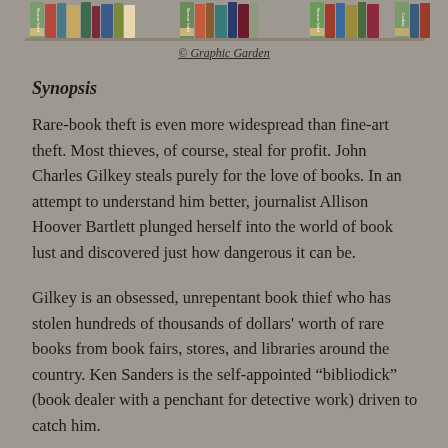[Figure (illustration): Decorative bookshelf illustration showing rows of colorful books on shelves, serving as a header image]
© Graphic Garden
Synopsis
Rare-book theft is even more widespread than fine-art theft. Most thieves, of course, steal for profit. John Charles Gilkey steals purely for the love of books. In an attempt to understand him better, journalist Allison Hoover Bartlett plunged herself into the world of book lust and discovered just how dangerous it can be.
Gilkey is an obsessed, unrepentant book thief who has stolen hundreds of thousands of dollars' worth of rare books from book fairs, stores, and libraries around the country. Ken Sanders is the self-appointed “bibliodick” (book dealer with a penchant for detective work) driven to catch him.